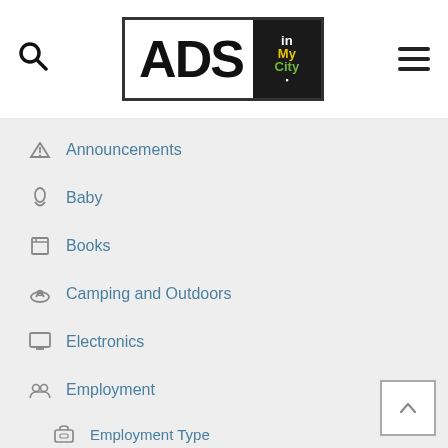ADS inMyCity — navigation header with search and menu icons
Announcements
Baby
Books
Camping and Outdoors
Electronics
Employment
Employment Type